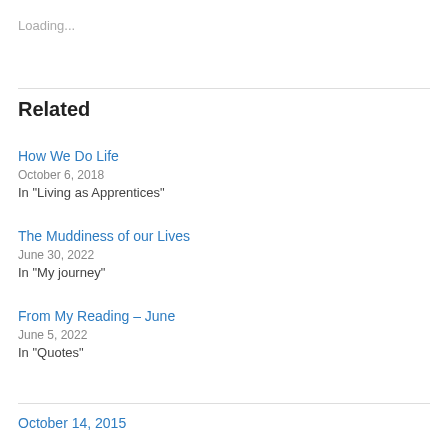Loading...
Related
How We Do Life
October 6, 2018
In "Living as Apprentices"
The Muddiness of our Lives
June 30, 2022
In "My journey"
From My Reading – June
June 5, 2022
In "Quotes"
October 14, 2015